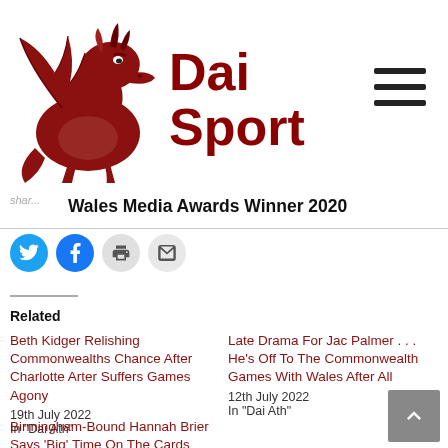[Figure (logo): Dai Sport logo with red dragon and bold red text 'Dai Sport']
Wales Media Awards Winner 2020
[Figure (infographic): Social share buttons: Twitter (blue), Facebook (blue), Print (grey), Email (grey)]
Related
Beth Kidger Relishing Commonwealths Chance After Charlotte Arter Suffers Games Agony
19th July 2022
In "Dai Ath"
Late Drama For Jac Palmer . . . He's Off To The Commonwealth Games With Wales After All
12th July 2022
In "Dai Ath"
Birmingham-Bound Hannah Brier Says 'Big' Time On The Cards After Idol Welsh 100...